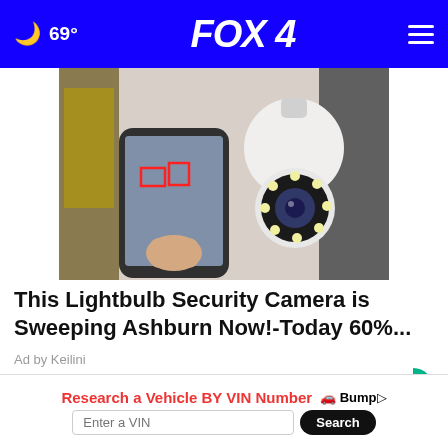🌙 69° FOX 4
[Figure (photo): A hand holding a smartphone showing a home security app with red detection boxes, next to a white lightbulb-shaped security camera with LED ring]
This Lightbulb Security Camera is Sweeping Ashburn Now!-Today 60%...
Ad by Keilini
AROUND THE WEB
[Figure (logo): Taboola logo - circular green and dark logo]
[Figure (photo): Partial photo visible at bottom of page - person with blue background]
Research a Vehicle BY VIN Number  🚗 Bump▷  Enter a VIN  Search